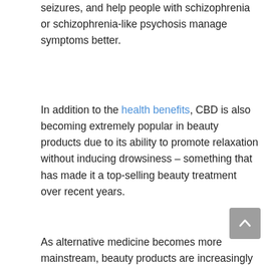seizures, and help people with schizophrenia or schizophrenia-like psychosis manage symptoms better.
In addition to the health benefits, CBD is also becoming extremely popular in beauty products due to its ability to promote relaxation without inducing drowsiness – something that has made it a top-selling beauty treatment over recent years.
As alternative medicine becomes more mainstream, beauty products are increasingly getting regulated. It has given CBD oil a boost in its popularity as a beauty product. The key to success here is creating a cosmetic look with CBD oil and making sure it's completely legal and safe for use by the public without any side effects or adverse reactions.